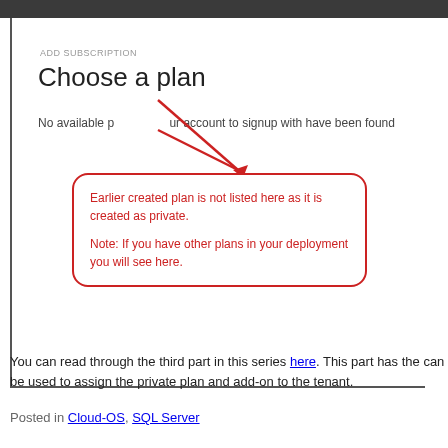[Figure (screenshot): Screenshot of a web UI showing 'ADD SUBSCRIPTION / Choose a plan' page with message 'No available plans for your account to signup with have been found'. A red arrow annotation points to a callout box with red text explaining that the earlier created plan is not listed because it was created as private, and a note about seeing other plans in deployment.]
You can read through the third part in this series here. This part has the can be used to assign the private plan and add-on to the tenant.
Posted in Cloud-OS, SQL Server